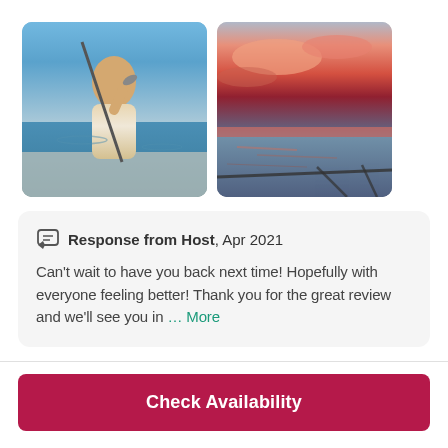[Figure (photo): Person on a fishing boat holding up a caught fish, blue sky and water in background]
[Figure (photo): Sunset over the ocean viewed from a sailboat, vivid pink and orange sky]
Response from Host, Apr 2021
Can't wait to have you back next time! Hopefully with everyone feeling better! Thank you for the great review and we'll see you in
… More